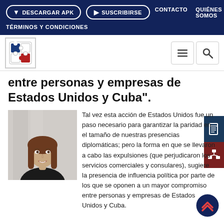DESCARGAR APK   SUSCRIBIRSE   CONTACTO   QUIÉNES SOMOS   TÉRMINOS Y CONDICIONES
[Figure (logo): Puzzle piece logo icon in blue, white and red]
entre personas y empresas de Estados Unidos y Cuba".
[Figure (photo): Professional headshot of a woman with long brown hair, smiling, wearing dark clothing against a light background]
Tal vez esta acción de Estados Unidos fue un paso necesario para garantizar la paridad en el tamaño de nuestras presencias diplomáticas; pero la forma en que se llevaron a cabo las expulsiones (que perjudicaron los servicios comerciales y consulares), sugiere la presencia de influencia política por parte de los que  se oponen a un mayor compromiso entre personas y empresas de Estados Unidos y Cuba.